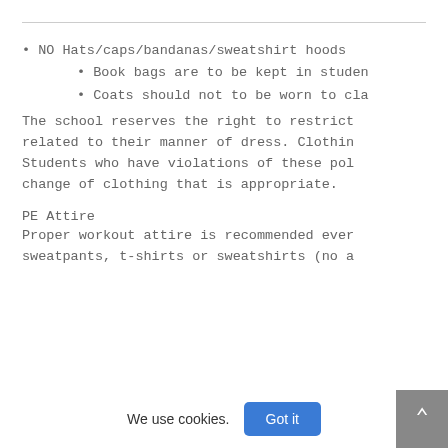NO Hats/caps/bandanas/sweatshirt hoods
Book bags are to be kept in studen
Coats should not to be worn to cla
The school reserves the right to restrict related to their manner of dress. Clothin Students who have violations of these pol change of clothing that is appropriate.
PE Attire
Proper workout attire is recommended ever sweatpants, t-shirts or sweatshirts (no a